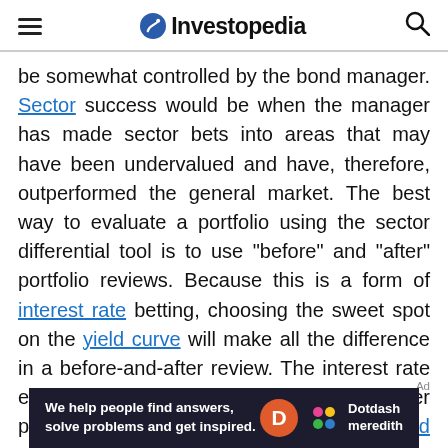Investopedia
be somewhat controlled by the bond manager. Sector success would be when the manager has made sector bets into areas that may have been undervalued and have, therefore, outperformed the general market. The best way to evaluate a portfolio using the sector differential tool is to use "before" and "after" portfolio reviews. Because this is a form of interest rate betting, choosing the sweet spot on the yield curve will make all the difference in a before-and-after review. The interest rate effect is successful when the bond manager picks the right place to invest in the yield curve in an interest rate anticipation strategy. Because interest rate anticipation is one of the riskiest active
[Figure (other): Dotdash Meredith advertisement banner: 'We help people find answers, solve problems and get inspired.' with Dotdash D logo and Dotdash Meredith branding]